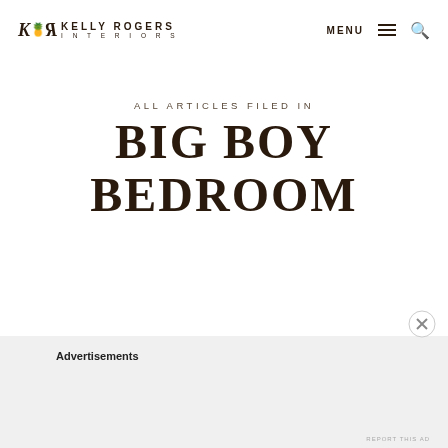KR Kelly Rogers Interiors | MENU ≡ 🔍
ALL ARTICLES FILED IN
BIG BOY BEDROOM
Advertisements